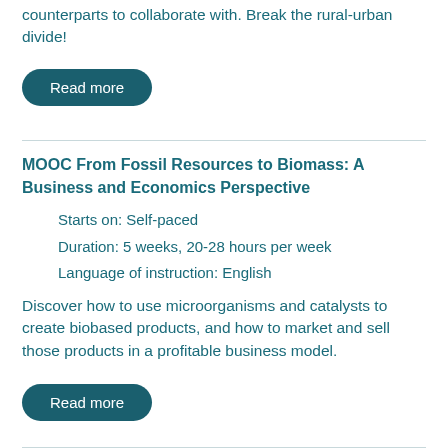counterparts to collaborate with. Break the rural-urban divide!
Read more
MOOC From Fossil Resources to Biomass: A Business and Economics Perspective
Starts on: Self-paced
Duration: 5 weeks, 20-28 hours per week
Language of instruction: English
Discover how to use microorganisms and catalysts to create biobased products, and how to market and sell those products in a profitable business model.
Read more